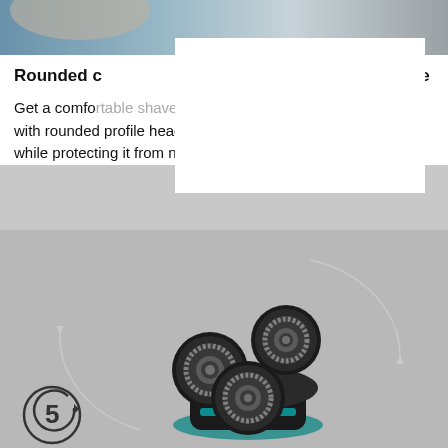[Figure (photo): Top portion of a person's head/face, product lifestyle photo background]
Rounded c... protective shave
Get a comfortable shave, wet or dry. Our ComfortCut blades with rounded profile heads glide smoothly across your skin while protecting it from nicks and cuts.
[Figure (photo): Philips electric shaver head unit with three circular rotary blades, black and teal colored, with curved arrow motion indicators and a series 5 badge in the bottom left corner]